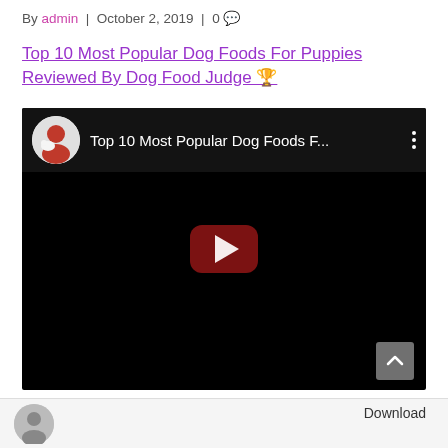By admin | October 2, 2019 | 0 💬
Top 10 Most Popular Dog Foods For Puppies Reviewed By Dog Food Judge 🏆
[Figure (screenshot): YouTube video embed showing 'Top 10 Most Popular Dog Foods F...' with a black background, channel avatar (person with dog), three-dot menu, and a dark red play button in the center.]
Download